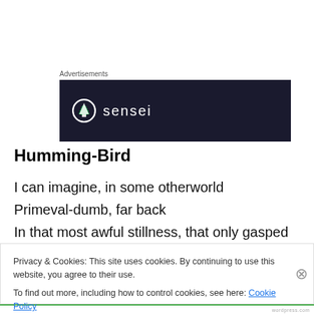[Figure (logo): Sensei logo advertisement banner on dark navy background with circular tree icon and 'sensei' text]
Humming-Bird
I can imagine, in some otherworld
Primeval-dumb, far back
In that most awful stillness, that only gasped and hummed,
Privacy & Cookies: This site uses cookies. By continuing to use this website, you agree to their use.
To find out more, including how to control cookies, see here: Cookie Policy
wordpress.com